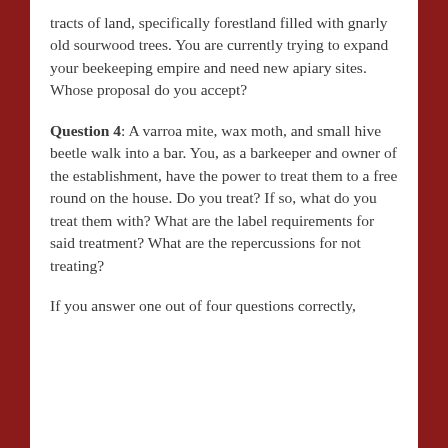tracts of land, specifically forestland filled with gnarly old sourwood trees. You are currently trying to expand your beekeeping empire and need new apiary sites. Whose proposal do you accept?
Question 4: A varroa mite, wax moth, and small hive beetle walk into a bar. You, as a barkeeper and owner of the establishment, have the power to treat them to a free round on the house. Do you treat? If so, what do you treat them with? What are the label requirements for said treatment? What are the repercussions for not treating?
If you answer one out of four questions correctly,